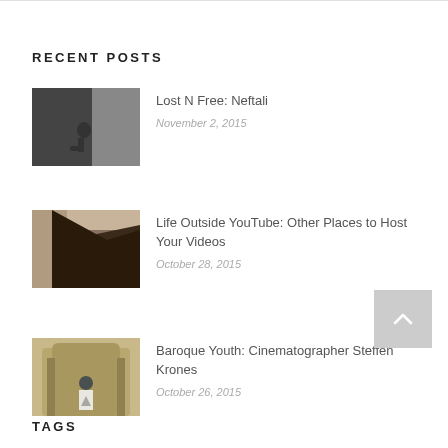RECENT POSTS
Lost N Free: Neftali
November 2, 2015
Life Outside YouTube: Other Places to Host Your Videos
October 28, 2015
Baroque Youth: Cinematographer Steffen Krones
October 26, 2015
TAGS